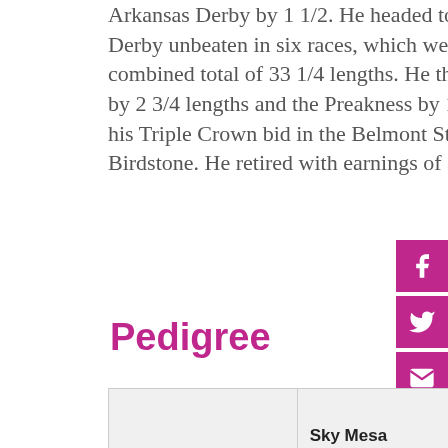Arkansas Derby by 1 1/2. He headed to the Kentucky Derby unbeaten in six races, which were won by a combined total of 33 1/4 lengths. He then added the Derby by 2 3/4 lengths and the Preakness by 11 1/2, finally losing his Triple Crown bid in the Belmont Stakes by one length to Birdstone. He retired with earnings of $7,613,155.
Pedigree
|  | Sky Mesa (2000) | Pulpit (1994) / Caress (1991) |
| --- | --- | --- |
|  | Sky Mesa
(2000) | Pulpit
(1994) |
|  |  | Caress
(1991) |